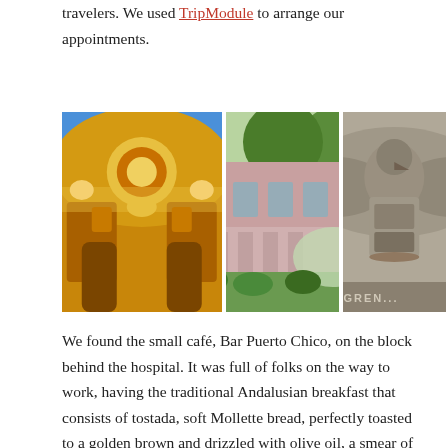travelers. We used TripModule to arrange our appointments.
[Figure (photo): Three travel photos side by side: (1) ornate yellow and white baroque church facade, (2) pink colonial building with garden and palm trees, (3) stone carved eagle/coat of arms sculpture with 'OLD GRANADA' text]
We found the small café, Bar Puerto Chico, on the block behind the hospital. It was full of folks on the way to work, having the traditional Andalusian breakfast that consists of tostada, soft Mollette bread, perfectly toasted to a golden brown and drizzled with olive oil, a smear of crushed tomatoes and maybe a slice of jamon, along with coffee and zumo natural, fresh squeezed Spanish oranges.  "Dos capuchinos por favor." The barman smiled